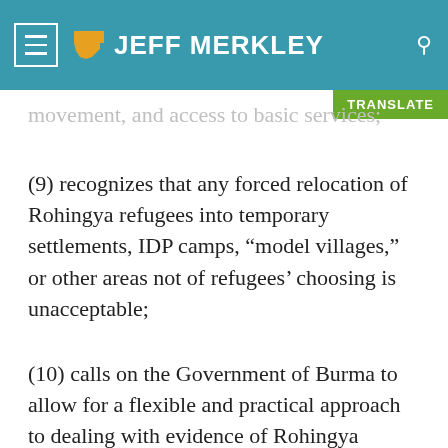JEFF MERKLEY
movement, and access to basic services;
(9) recognizes that any forced relocation of Rohingya refugees into temporary settlements, IDP camps, “model villages,” or other areas not of refugees’ choosing is unacceptable;
(10) calls on the Government of Burma to allow for a flexible and practical approach to dealing with evidence of Rohingya residence